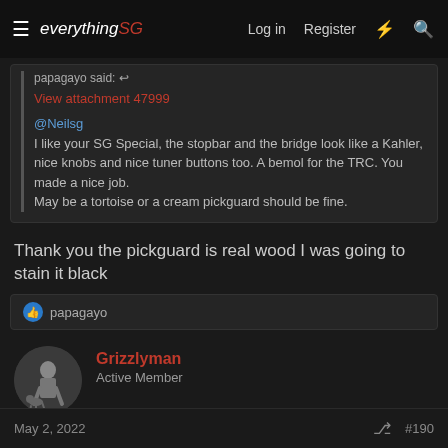everythingSG — Log in  Register
papagayo said:
View attachment 47999
@Neilsg
I like your SG Special, the stopbar and the bridge look like a Kahler, nice knobs and nice tuner buttons too. A bemol for the TRC. You made a nice job.
May be a tortoise or a cream pickguard should be fine.
Thank you the pickguard is real wood I was going to stain it black
papagayo
Grizzlyman
Active Member
May 2, 2022  #190